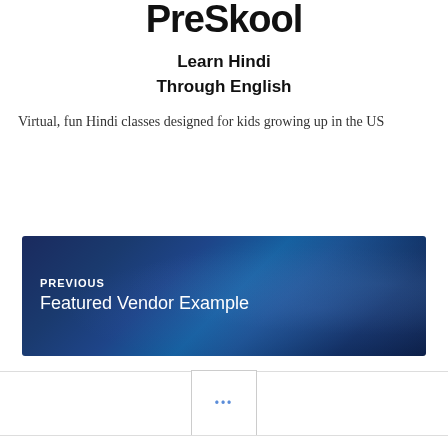Virtual PreSkool
Learn Hindi
Through English
Virtual, fun Hindi classes designed for kids growing up in the US
[Figure (photo): Dark blue-toned photo of DJ equipment/turntables with hands operating them, overlaid with navigation text 'PREVIOUS' and 'Featured Vendor Example']
[Figure (other): Pagination button with three dots (ellipsis) in blue]